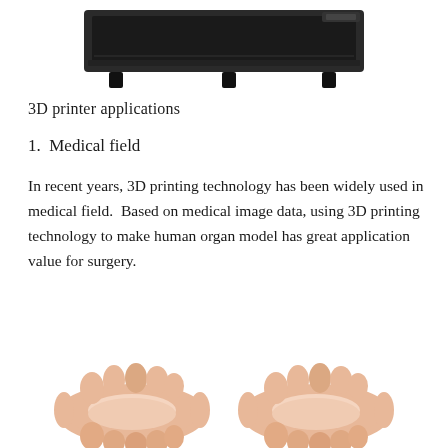[Figure (photo): 3D printer device shown from above at the top of the page, black rectangular frame with feet]
3D printer applications
1.  Medical field
In recent years, 3D printing technology has been widely used in medical field.  Based on medical image data, using 3D printing technology to make human organ model has great application value for surgery.
[Figure (photo): Two pink/flesh-colored 3D printed human hand or foot models with ring-like frames shown side by side at the bottom of the page]